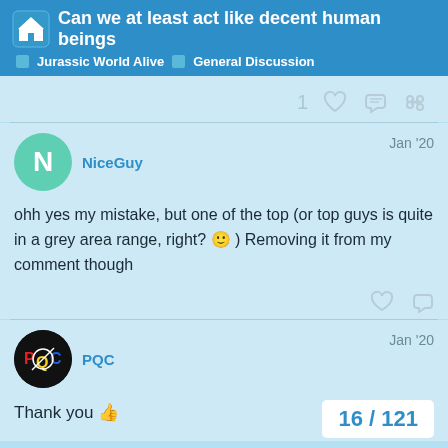Can we at least act like decent human beings | Jurassic World Alive | General Discussion
1
NiceGuy — Jan '20
ohh yes my mistake, but one of the top (or top guys is quite in a grey area range, right? 🙂 ) Removing it from my comment though
PQC — Jan '20
Thank you 👍
16 / 121